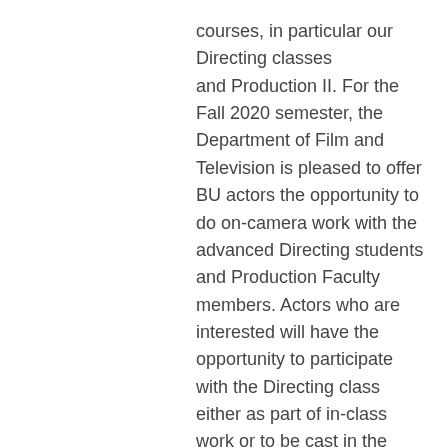courses, in particular our Directing classes and Production II. For the Fall 2020 semester, the Department of Film and Television is pleased to offer BU actors the opportunity to do on-camera work with the advanced Directing students and Production Faculty members. Actors who are interested will have the opportunity to participate with the Directing class either as part of in-class work or to be cast in the directors' final projects, and of course students who are especially motivated are welcome to do both."
If you'd like to find out more, please visit sites.bu.edu/ftpc/binder/cast/